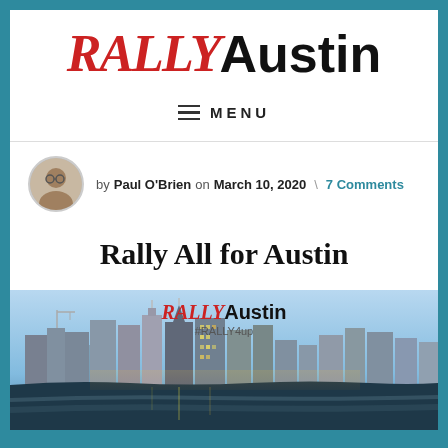RALLY Austin
MENU
by Paul O'Brien on March 10, 2020 \ 7 Comments
Rally All for Austin
[Figure (photo): Austin city skyline at dusk with river in foreground, overlaid with Rally Austin logo and #RALLY4up hashtag]